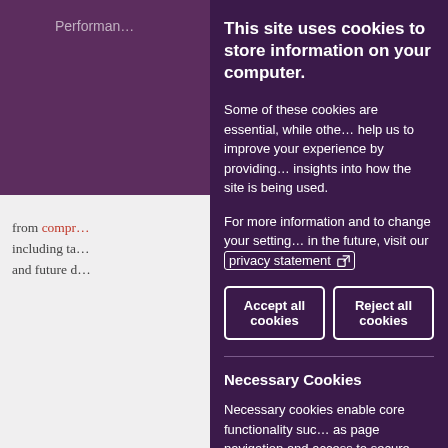Performan…
from compr… including ta… and future d…
Restoratio… for many … Greek civ… the form … various m… Emerging… enabled a… using bio… optimizat…
This site uses cookies to store information on your computer.
Some of these cookies are essential, while othe… help us to improve your experience by providing… insights into how the site is being used.
For more information and to change your setting… in the future, visit our privacy statement
Accept all cookies
Reject all cookies
Necessary Cookies
Necessary cookies enable core functionality suc… as page navigation and access to secure areas…